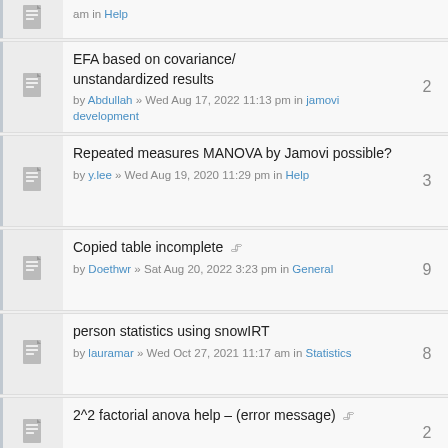am in Help
EFA based on covariance/unstandardized results by Abdullah » Wed Aug 17, 2022 11:13 pm in jamovi development — replies: 2
Repeated measures MANOVA by Jamovi possible? by y.lee » Wed Aug 19, 2020 11:29 pm in Help — replies: 3
Copied table incomplete [attachment] by Doethwr » Sat Aug 20, 2022 3:23 pm in General — replies: 9
person statistics using snowIRT by lauramar » Wed Oct 27, 2021 11:17 am in Statistics — replies: 8
2^2 factorial anova help – (error message) [attachment]